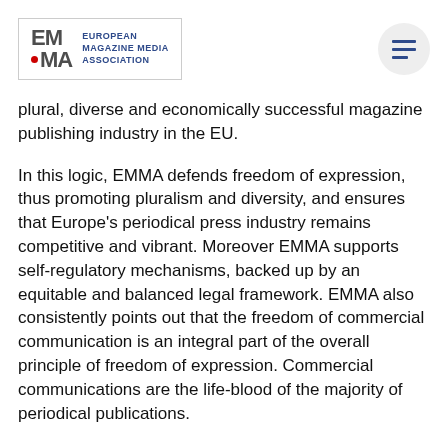[Figure (logo): EMMA – European Magazine Media Association logo with grey EM/MA letters, red dot, and blue text]
plural, diverse and economically successful magazine publishing industry in the EU.
In this logic, EMMA defends freedom of expression, thus promoting pluralism and diversity, and ensures that Europe's periodical press industry remains competitive and vibrant. Moreover EMMA supports self-regulatory mechanisms, backed up by an equitable and balanced legal framework. EMMA also consistently points out that the freedom of commercial communication is an integral part of the overall principle of freedom of expression. Commercial communications are the life-blood of the majority of periodical publications.
Currently, EMMA's membership is composed of 22 National Associations of periodical press